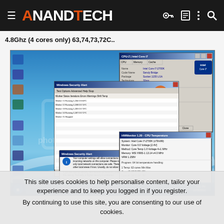AnandTech
4.8Ghz (4 cores only) 63,74,73,72C..
[Figure (screenshot): Windows 7 desktop screenshot showing CPU-Z, HWMonitor, and a stress test dialog window. A photobucket watermark is visible on the desktop background. The screenshot shows system information for an Intel Core i7 CPU overclocked to 4.8GHz with temperature readings.]
This site uses cookies to help personalise content, tailor your experience and to keep you logged in if you register.
By continuing to use this site, you are consenting to our use of cookies.